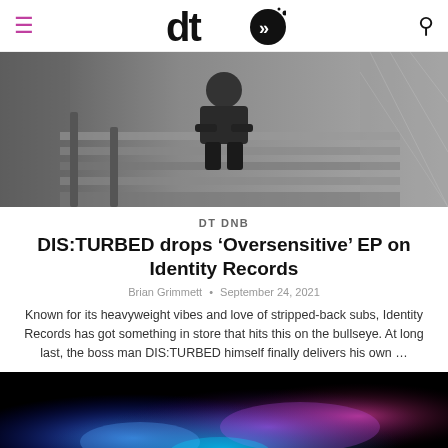dto (logo) — navigation header with hamburger menu and search icon
[Figure (photo): Black and white photo of a person sitting on outdoor stairs with chain-link fence in background]
DT DNB
DIS:TURBED drops 'Oversensitive' EP on Identity Records
Brian Grimmett · September 24, 2021
Known for its heavyweight vibes and love of stripped-back subs, Identity Records has got something in store that hits this on the bullseye. At long last, the boss man DIS:TURBED himself finally delivers his own …
[Figure (photo): Colorful blue and purple glowing artistic image on black background]